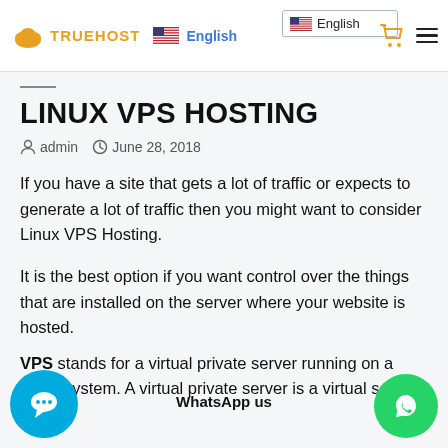TRUEHOST  English  English
LINUX VPS HOSTING
admin  June 28, 2018
If you have a site that gets a lot of traffic or expects to generate a lot of traffic then you might want to consider Linux VPS Hosting.
It is the best option if you want control over the things that are installed on the server where your website is hosted.
VPS stands for a virtual private server running on a Linux system. A virtual private server is a virtual server hosted